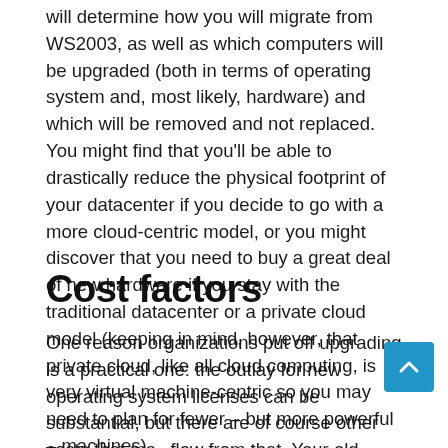will determine how you will migrate from WS2003, as well as which computers will be upgraded (both in terms of operating system and, most likely, hardware) and which will be removed and not replaced. You might find that you'll be able to drastically reduce the physical footprint of your datacenter if you decide to go with a more cloud-centric model, or you might discover that you need to buy a great deal of new hardware if you stay with the traditional datacenter or a private cloud model (keeping in mind, however, that private cloud, like all cloud computing, is very virtual machine-centric so you may need to plan for fewer – but more powerful – machines).
Cost factors
One reason organizations put off upgrading is a practical one: the outlay for new operating system licenses can be substantial, but there are of course other costs that may flow from that. Your old hardware may not be able to effectively support the new OS, so you may need to